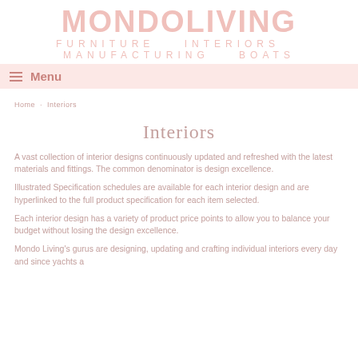MONDO LIVING — FURNITURE INTERIORS MANUFACTURING BOATS
Menu
Home · Interiors
Interiors
A vast collection of interior designs continuously updated and refreshed with the latest materials and fittings. The common denominator is design excellence.
Illustrated Specification schedules are available for each interior design and are hyperlinked to the full product specification for each item selected.
Each interior design has a variety of product price points to allow you to balance your budget without losing the design excellence.
Mondo Living's gurus are designing, updating and crafting individual interiors every day and since yachts a